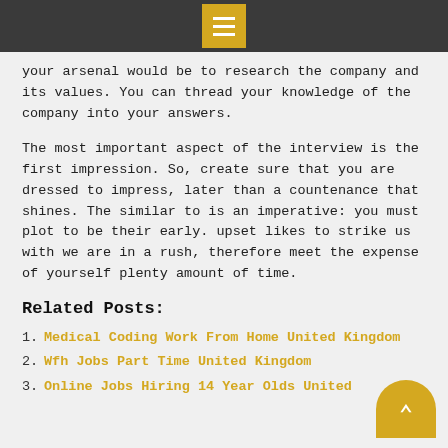[Menu icon bar with hamburger button]
your arsenal would be to research the company and its values. You can thread your knowledge of the company into your answers.
The most important aspect of the interview is the first impression. So, create sure that you are dressed to impress, later than a countenance that shines. The similar to is an imperative: you must plot to be their early. upset likes to strike us with we are in a rush, therefore meet the expense of yourself plenty amount of time.
Related Posts:
Medical Coding Work From Home United Kingdom
Wfh Jobs Part Time United Kingdom
Online Jobs Hiring 14 Year Olds United